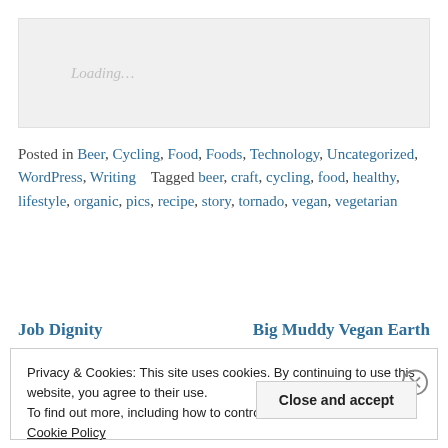[Figure (other): Loading placeholder box with 'Loading...' text in gray]
Posted in Beer, Cycling, Food, Foods, Technology, Uncategorized, WordPress, Writing   Tagged beer, craft, cycling, food, healthy, lifestyle, organic, pics, recipe, story, tornado, vegan, vegetarian
Job Dignity   Big Muddy Vegan Earth
Privacy & Cookies: This site uses cookies. By continuing to use this website, you agree to their use.
To find out more, including how to control cookies, see here:
Cookie Policy
Close and accept